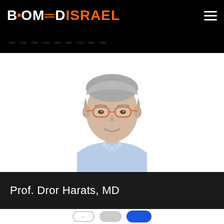BiOMEDISRAEL
— — — — — —
[Figure (photo): Headshot of Prof. Dror Harats, MD — older gentleman with grey hair, glasses, wearing a light blue shirt, smiling against a white background]
Prof. Dror Harats, MD